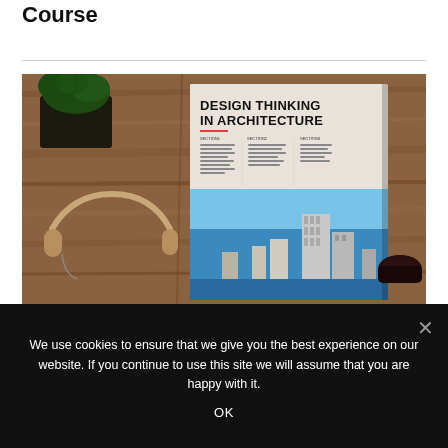Course
[Figure (photo): Flat-lay photo on wooden surface showing a Design Thinking in Architecture magazine, a green potted plant, over-ear headphones, and a small dark bowl. The magazine cover features bold text 'DESIGN THINKING IN ARCHITECTURE' and a city skyline image.]
We use cookies to ensure that we give you the best experience on our website. If you continue to use this site we will assume that you are happy with it.
OK